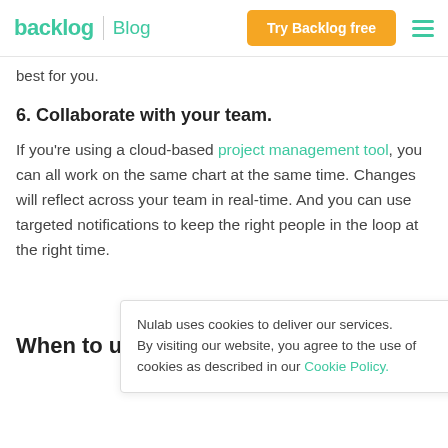backlog | Blog  Try Backlog free
best for you.
6. Collaborate with your team.
If you’re using a cloud-based project management tool, you can all work on the same chart at the same time. Changes will reflect across your team in real-time. And you can use targeted notifications to keep the right people in the loop at the right time.
Nulab uses cookies to deliver our services. By visiting our website, you agree to the use of cookies as described in our Cookie Policy.
When to use Gantt chart vs. Kanban